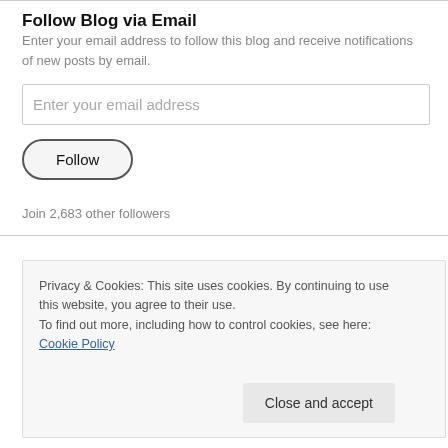Follow Blog via Email
Enter your email address to follow this blog and receive notifications of new posts by email.
Enter your email address
Follow
Join 2,683 other followers
Privacy & Cookies: This site uses cookies. By continuing to use this website, you agree to their use.
To find out more, including how to control cookies, see here: Cookie Policy
Close and accept